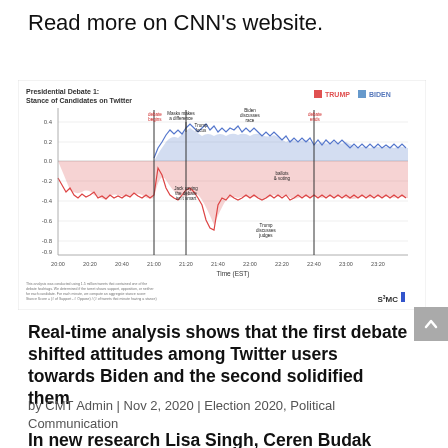Read more on CNN's website.
[Figure (line-chart): Time-series line chart showing Twitter stance scores for TRUMP (red) and BIDEN (blue) candidates during Presidential Debate 1, from 20:00 to 23:20 EST, with annotated events such as 'debate begins', 'Masks makes a difference', 'Trump focus', 'Biden discusses race', 'debate ends', 'Jack saying the debate isn't smart', 'ballots & voting', 'Trump discusses judges'. S3MC logo shown.]
Real-time analysis shows that the first debate shifted attitudes among Twitter users towards Biden and the second solidified them
by CMT Admin | Nov 2, 2020 | Election 2020, Political Communication
In new research Lisa Singh, Ceren Budak